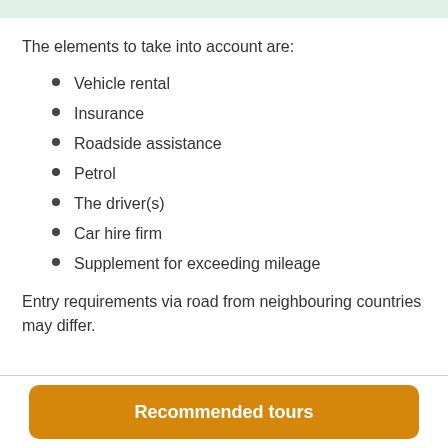The elements to take into account are:
Vehicle rental
Insurance
Roadside assistance
Petrol
The driver(s)
Car hire firm
Supplement for exceeding mileage
Entry requirements via road from neighbouring countries may differ.
Recommended tours